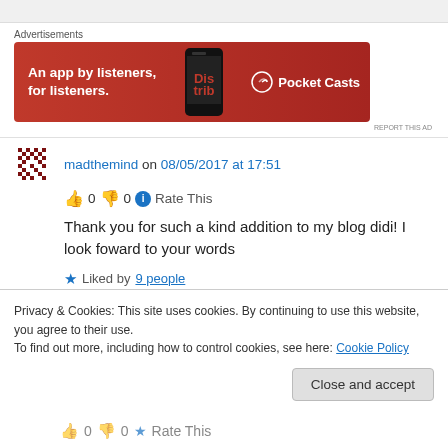[Figure (screenshot): Top gray bar of a webpage]
Advertisements
[Figure (photo): Pocket Casts advertisement banner: red background, text 'An app by listeners, for listeners.' with phone image and Pocket Casts logo]
REPORT THIS AD
madthemind on 08/05/2017 at 17:51
👍 0 👎 0 ℹ Rate This
Thank you for such a kind addition to my blog didi! I look foward to your words
Liked by 9 people
Privacy & Cookies: This site uses cookies. By continuing to use this website, you agree to their use.
To find out more, including how to control cookies, see here: Cookie Policy
Close and accept
0 0 Rate This